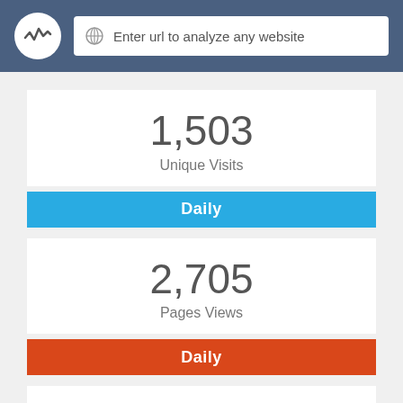Enter url to analyze any website
1,503
Unique Visits
Daily
2,705
Pages Views
Daily
$2
Income
Daily